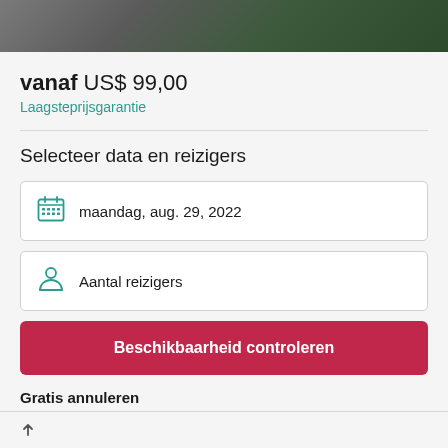[Figure (photo): Partial photo strip at top showing people and greenery, mostly cropped]
vanaf US$ 99,00
Laagsteprijsgarantie
Selecteer data en reizigers
maandag, aug. 29, 2022
Aantal reizigers
Beschikbaarheid controleren
Gratis annuleren
Tot 24 uur van tevoren. Meer informatie